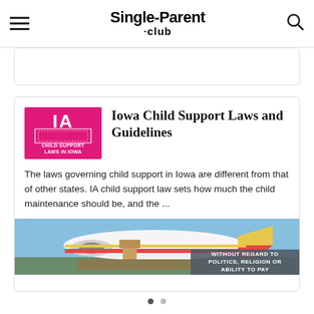Single-Parent .club
[Figure (screenshot): Collapsed card/banner at top of page]
[Figure (illustration): Iowa state pink thumbnail with IA text and CHILD SUPPORT LAWS IN IOWA label]
Iowa Child Support Laws and Guidelines
The laws governing child support in Iowa are different from that of other states. IA child support law sets how much the child maintenance should be, and the ...
[Figure (photo): Advertisement banner showing airplane cargo with overlay text WITHOUT REGARD TO POLITICS, RELIGION OR ABILITY TO PAY]